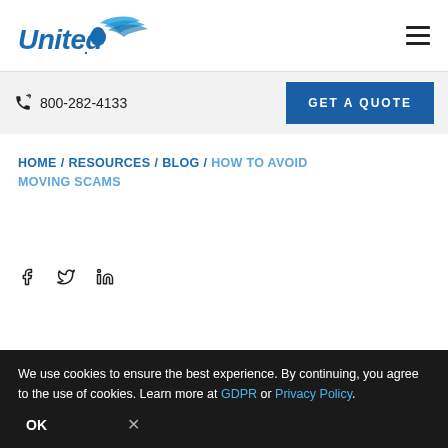[Figure (logo): United Van Lines logo with eagle/wing graphic in blue]
800-282-4133 | GET A QUOTE
HOME / RESOURCES / BLOG / HOW TO AVOID MOVING SCAMS
[Figure (infographic): Social media share icons: Facebook (f), Twitter (bird), LinkedIn (in)]
We use cookies to ensure the best experience. By continuing, you agree to the use of cookies. Learn more at GDPR or Privacy Policy.
OK  ×